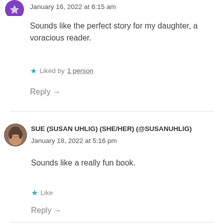January 16, 2022 at 6:15 am
Sounds like the perfect story for my daughter, a voracious reader.
★ Liked by 1 person
Reply →
SUE (SUSAN UHLIG) (SHE/HER) (@SUSANUHLIG)
January 18, 2022 at 5:16 pm
Sounds like a really fun book.
★ Like
Reply →